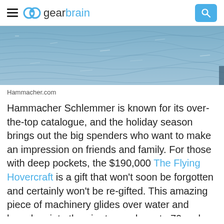gearbrain
[Figure (photo): Water surface photo showing rippling ocean or lake water in blue-grey tones]
Hammacher.com
Hammacher Schlemmer is known for its over-the-top catalogue, and the holiday season brings out the big spenders who want to make an impression on friends and family. For those with deep pockets, the $190,000 The Flying Hovercraft is a gift that won't soon be forgotten and certainly won't be re-gifted. This amazing piece of machinery glides over water and launches into the air at speeds up to 70 mph. Whether in fresh- or saltwater, over sand, mud, grass, ice, or snow, this hovercraft can operate through a